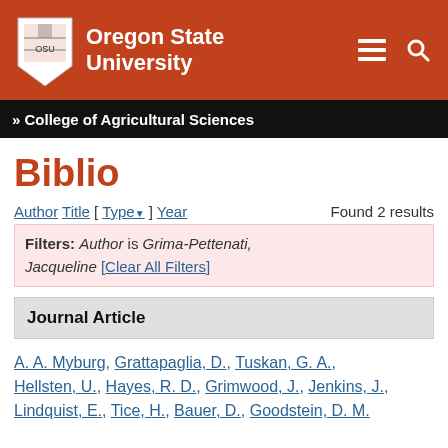Oregon State University
» College of Agricultural Sciences
Biblio
Author Title [ Type▼ ] Year   Found 2 results
Filters: Author is Grima-Pettenati, Jacqueline [Clear All Filters]
Journal Article
A. A. Myburg, Grattapaglia, D., Tuskan, G. A., Hellsten, U., Hayes, R. D., Grimwood, J., Jenkins, J., Lindquist, E., Tice, H., Bauer, D., Goodstein, D. M.